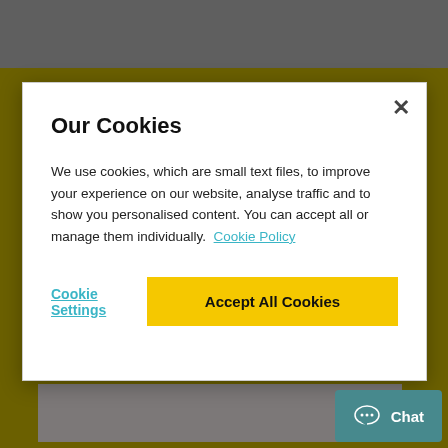From
To
Our Cookies
We use cookies, which are small text files, to improve your experience on our website, analyse traffic and to show you personalised content. You can accept all or manage them individually.  Cookie Policy
Cookie Settings
Accept All Cookies
Chat